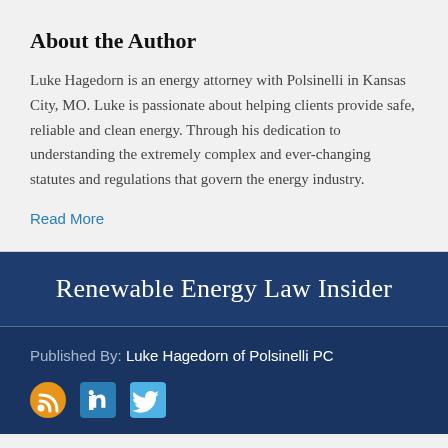About the Author
Luke Hagedorn is an energy attorney with Polsinelli in Kansas City, MO. Luke is passionate about helping clients provide safe, reliable and clean energy. Through his dedication to understanding the extremely complex and ever-changing statutes and regulations that govern the energy industry.
Read More
Renewable Energy Law Insider
Published By: Luke Hagedorn of Polsinelli PC